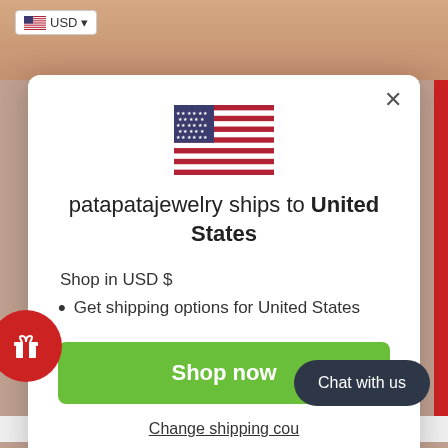[Figure (screenshot): USD currency selector badge with US flag in top-left of page background]
patapatajewelry ships to United States
Shop in USD $
Get shipping options for United States
Shop now
Change shipping cou...
Chat with us
Pata Pata Jewelry is a boutique studio shop that was created